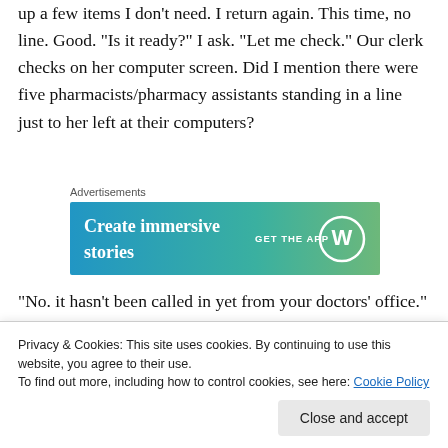up a few items I don't need. I return again. This time, no line. Good. “Is it ready?” I ask. “Let me check.” Our clerk checks on her computer screen. Did I mention there were five pharmacists/pharmacy assistants standing in a line just to her left at their computers?
Advertisements
[Figure (infographic): WordPress advertisement banner: 'Create immersive stories' with 'GET THE APP' and WordPress logo on a blue-to-green gradient background]
“No. it hasn’t been called in yet from your doctors’ office.” I pull out my cell and call my doctors’ office. “Oh, we called
Privacy & Cookies: This site uses cookies. By continuing to use this website, you agree to their use.
To find out more, including how to control cookies, see here: Cookie Policy
the phone, for all they know.